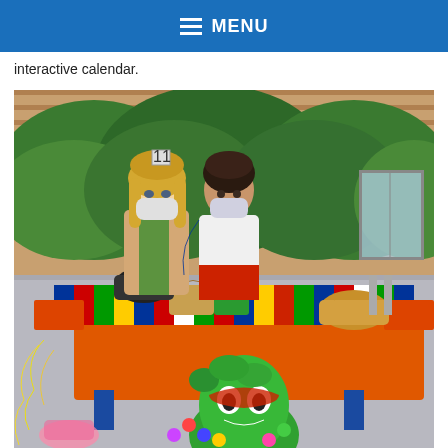MENU
interactive calendar.
[Figure (photo): Two women wearing face masks standing behind a table covered with a colorful world flags tablecloth. The table has various items including baskets and cultural artifacts. In front of the table is a green fuzzy monster piñata decorated with pom-poms. One woman has long blonde hair and wears a tan cardigan with a green sash. The other wears a white top with a red skirt. Background shows brick building and green bushes.]